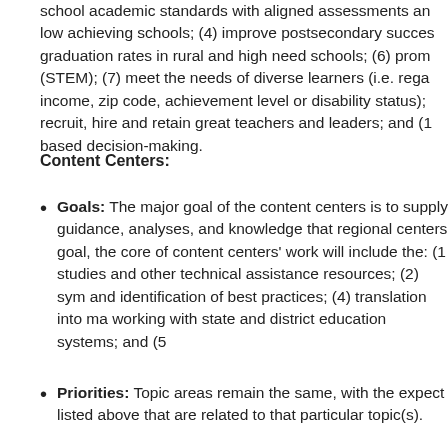school academic standards with aligned assessments and low achieving schools; (4) improve postsecondary success graduation rates in rural and high need schools; (6) promote (STEM); (7) meet the needs of diverse learners (i.e. regardless of income, zip code, achievement level or disability status); recruit, hire and retain great teachers and leaders; and (1 based decision-making.
Content Centers:
Goals: The major goal of the content centers is to supply guidance, analyses, and knowledge that regional centers goal, the core of content centers' work will include the: (1 studies and other technical assistance resources; (2) synthesis and identification of best practices; (4) translation into materials working with state and district education systems; and (5
Priorities: Topic areas remain the same, with the expectations listed above that are related to that particular topic(s).